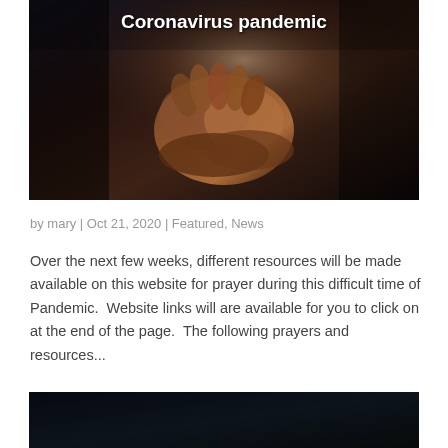[Figure (photo): Dark atmospheric photo of clasped/praying hands in dim light with text overlay 'Coronavirus pandemic' in white bold font]
by mary | Oct 21, 2020 | Featured, News
Over the next few weeks, different resources will be made available on this website for prayer during this difficult time of Pandemic.  Website links will are available for you to click on at the end of the page.  The following prayers and resources...
[Figure (photo): Dark atmospheric photo, bottom portion visible at bottom of page]